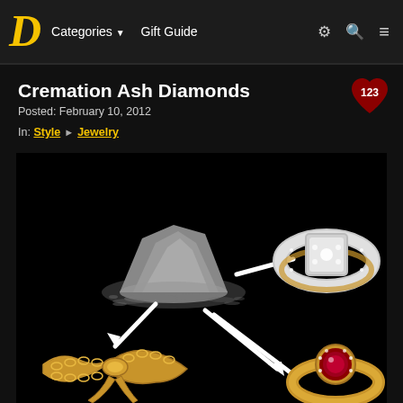D  Categories ▼  Gift Guide  ⚙ 🔍 ≡
Cremation Ash Diamonds
Posted: February 10, 2012
In: Style → Jewelry
[Figure (photo): Infographic showing cremation ash being converted into jewelry. A pile of gray ash in the center with white arrows pointing to three pieces of jewelry: a diamond-studded square ring (top right), a gold chain bow (bottom left), and a gold/gemstone ring (bottom center-right).]